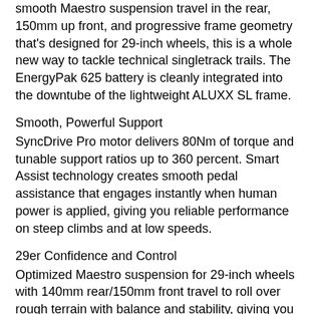smooth Maestro suspension travel in the rear, 150mm up front, and progressive frame geometry that's designed for 29-inch wheels, this is a whole new way to tackle technical singletrack trails. The EnergyPak 625 battery is cleanly integrated into the downtube of the lightweight ALUXX SL frame.
Smooth, Powerful Support
SyncDrive Pro motor delivers 80Nm of torque and tunable support ratios up to 360 percent. Smart Assist technology creates smooth pedal assistance that engages instantly when human power is applied, giving you reliable performance on steep climbs and at low speeds.
29er Confidence and Control
Optimized Maestro suspension for 29-inch wheels with 140mm rear/150mm front travel to roll over rough terrain with balance and stability, giving you more momentum for technical climbs and the confidence to fly on fast, rugged singletrack descents.